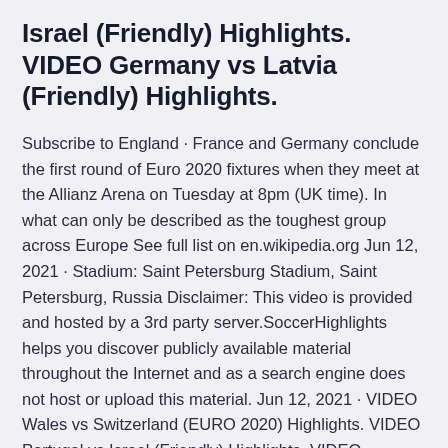Israel (Friendly) Highlights. VIDEO Germany vs Latvia (Friendly) Highlights.
Subscribe to England · France and Germany conclude the first round of Euro 2020 fixtures when they meet at the Allianz Arena on Tuesday at 8pm (UK time). In what can only be described as the toughest group across Europe See full list on en.wikipedia.org Jun 12, 2021 · Stadium: Saint Petersburg Stadium, Saint Petersburg, Russia Disclaimer: This video is provided and hosted by a 3rd party server.SoccerHighlights helps you discover publicly available material throughout the Internet and as a search engine does not host or upload this material. Jun 12, 2021 · VIDEO Wales vs Switzerland (EURO 2020) Highlights. VIDEO Portugal vs Israel (Friendly) Highlights. VIDEO Germany vs Latvia (Friendly) Highlights.